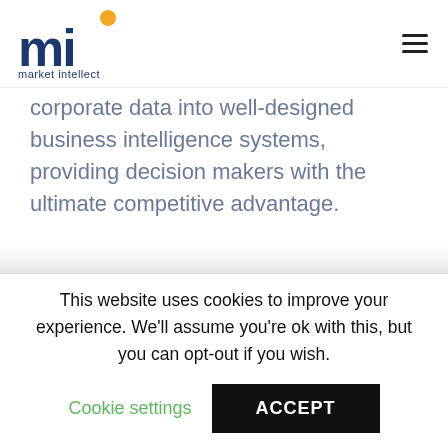market intellect
corporate data into well-designed business intelligence systems, providing decision makers with the ultimate competitive advantage.
Our BI services will help you understand the relationship between each data
This website uses cookies to improve your experience. We'll assume you're ok with this, but you can opt-out if you wish.
Cookie settings
ACCEPT